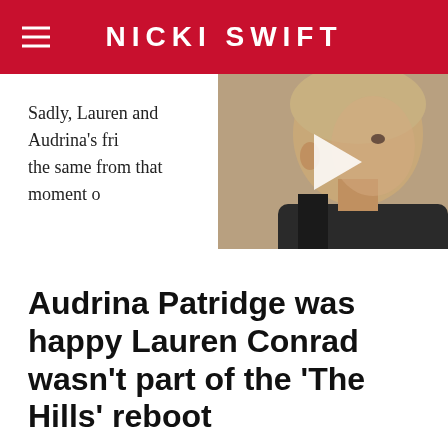NICKI SWIFT
[Figure (screenshot): Video thumbnail showing a man in profile, with a white play button triangle overlay, partially obscured by a close button (X) in the top right corner.]
Sadly, Lauren and Audrina's fri the same from that moment o
Audrina Patridge was happy Lauren Conrad wasn't part of the 'The Hills' reboot